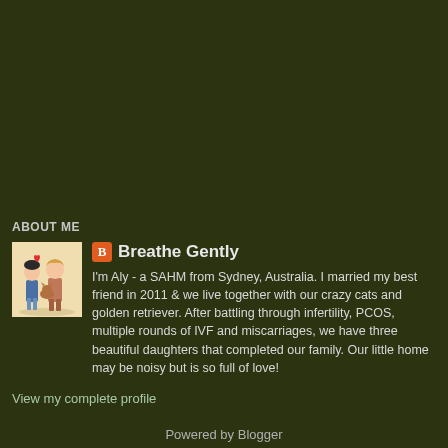ABOUT ME
[Figure (illustration): Cartoon illustration of a couple standing together with a small animal, on a beige background]
Breathe Gently
I'm Aly - a SAHM from Sydney, Australia. I married my best friend in 2011 & we live together with our crazy cats and golden retriever. After battling through infertility, PCOS, multiple rounds of IVF and miscarriages, we have three beautiful daughters that completed our family. Our little home may be noisy but is so full of love!
View my complete profile
Powered by Blogger